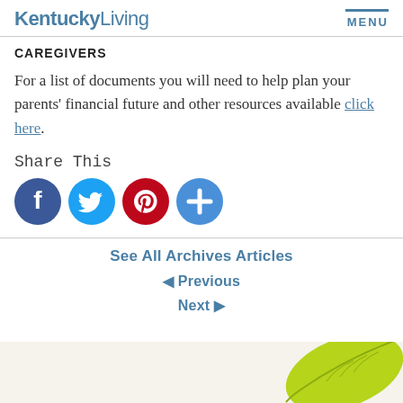KentuckyLiving | MENU
CAREGIVERS
For a list of documents you will need to help plan your parents' financial future and other resources available click here.
Share This
[Figure (infographic): Social share icons: Facebook (blue circle with f), Twitter (blue circle with bird), Pinterest (red circle with P), More/Add (blue circle with plus sign)]
See All Archives Articles
Previous
Next
[Figure (illustration): Green leaf illustration in bottom right corner]